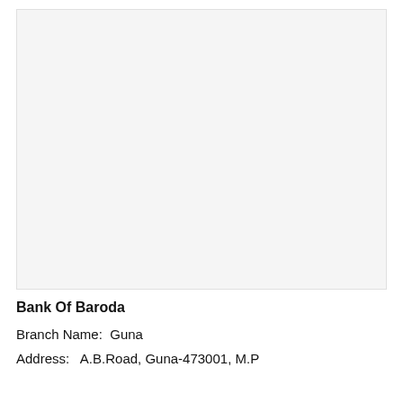[Figure (other): Large blank/light gray rectangular image area, likely a scanned or placeholder image region]
Bank Of Baroda
Branch Name:  Guna
Address:   A.B.Road, Guna-473001, M.P